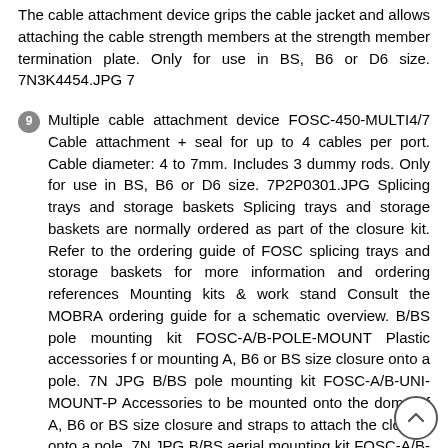The cable attachment device grips the cable jacket and allows attaching the cable strength members at the strength member termination plate. Only for use in BS, B6 or D6 size. 7N3K4454.JPG 7
9 Multiple cable attachment device FOSC-450-MULTI4/7 Cable attachment + seal for up to 4 cables per port. Cable diameter: 4 to 7mm. Includes 3 dummy rods. Only for use in BS, B6 or D6 size. 7P2P0301.JPG Splicing trays and storage baskets Splicing trays and storage baskets are normally ordered as part of the closure kit. Refer to the ordering guide of FOSC splicing trays and storage baskets for more information and ordering references Mounting kits & work stand Consult the MOBRA ordering guide for a schematic overview. B/BS pole mounting kit FOSC-A/B-POLE-MOUNT Plastic accessories f or mounting A, B6 or BS size closure onto a pole. 7N JPG B/BS pole mounting kit FOSC-A/B-UNI-MOUNT-P Accessories to be mounted onto the dome of A, B6 or BS size closure and straps to attach the closure onto a pole. 7N JPG B/BS aerial mounting kit FOSC-A/B-UNI-MOUNT-A Accessories to be mounted on the dome of A, B6 or BS size closure for aerial mounting on stranded cable. 7N JPG B/BS rod mounting kit